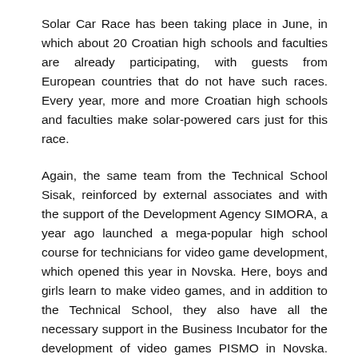Solar Car Race has been taking place in June, in which about 20 Croatian high schools and faculties are already participating, with guests from European countries that do not have such races. Every year, more and more Croatian high schools and faculties make solar-powered cars just for this race.
Again, the same team from the Technical School Sisak, reinforced by external associates and with the support of the Development Agency SIMORA, a year ago launched a mega-popular high school course for technicians for video game development, which opened this year in Novska. Here, boys and girls learn to make video games, and in addition to the Technical School, they also have all the necessary support in the Business Incubator for the development of video games PISMO in Novska. Games are already taking place there, and SIMORA and the City of Novska are now preparing to welcome these students